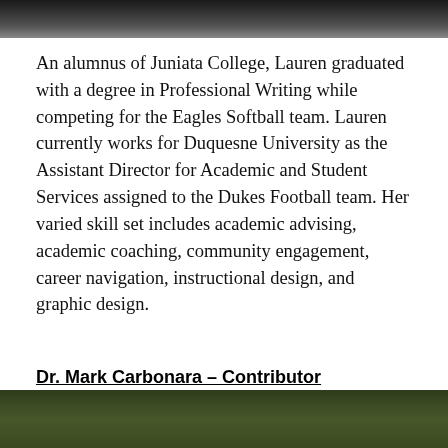[Figure (photo): Top portion of a person in dark clothing, cropped photo at top of page]
An alumnus of Juniata College, Lauren graduated with a degree in Professional Writing while competing for the Eagles Softball team. Lauren currently works for Duquesne University as the Assistant Director for Academic and Student Services assigned to the Dukes Football team. Her varied skill set includes academic advising, academic coaching, community engagement, career navigation, instructional design, and graphic design.
Dr. Mark Carbonara – Contributor
[Figure (photo): Bottom portion of a person, cropped photo at bottom of page]